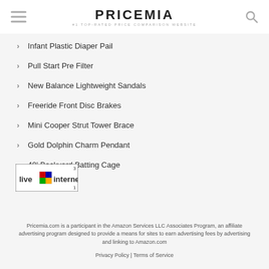PRICEMIA — #1 TOP-RATED PRICE COMPARISON WEBSITE
Infant Plastic Diaper Pail
Pull Start Pre Filter
New Balance Lightweight Sandals
Freeride Front Disc Brakes
Mini Cooper Strut Tower Brace
Gold Dolphin Charm Pendant
40' Backyard Batting Cage
[Figure (logo): LiveInternet badge/logo with colored square icon]
Pricemia.com is a participant in the Amazon Services LLC Associates Program, an affiliate advertising program designed to provide a means for sites to earn advertising fees by advertising and linking to Amazon.com
Privacy Policy | Terms of Service